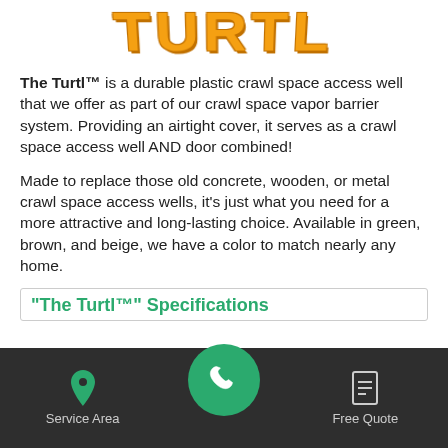[Figure (logo): The Turtl logo in orange/golden stylized text]
The Turtl™ is a durable plastic crawl space access well that we offer as part of our crawl space vapor barrier system. Providing an airtight cover, it serves as a crawl space access well AND door combined!
Made to replace those old concrete, wooden, or metal crawl space access wells, it's just what you need for a more attractive and long-lasting choice. Available in green, brown, and beige, we have a color to match nearly any home.
"The Turtl™" Specifications
Service Area  [phone]  Free Quote